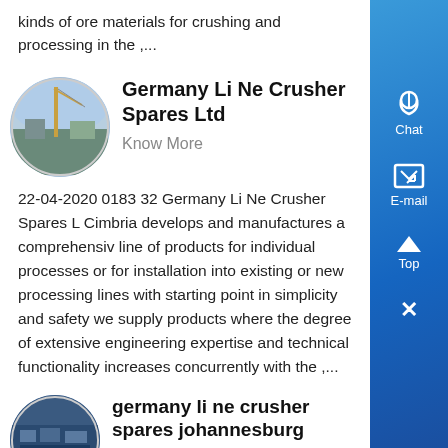kinds of ore materials for crushing and processing in the ,...
[Figure (photo): Oval photo of industrial construction site with crane]
Germany Li Ne Crusher Spares Ltd
Know More
22-04-2020 0183 32 Germany Li Ne Crusher Spares L Cimbria develops and manufactures a comprehensive line of products for individual processes or for installation into existing or new processing lines with starting point in simplicity and safety we supply products where the degree of extensive engineering expertise and technical functionality increases concurrently with the ,...
[Figure (photo): Oval photo of industrial facility interior]
germany li ne crusher spares johannesburg